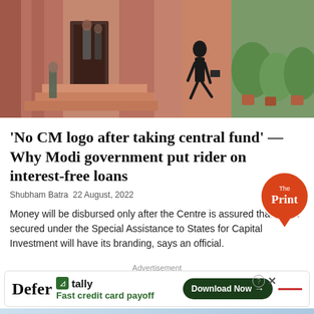[Figure (photo): People walking on steps outside a large red sandstone government building, one man in a dark suit carrying a briefcase running, with potted plants and security personnel visible]
'No CM logo after taking central fund' — Why Modi government put rider on interest-free loans
Shubham Batra 22 August, 2022
Money will be disbursed only after the Centre is assured that funds secured under the Special Assistance to States for Capital Investment will have its branding, says an official.
Advertisement
[Figure (other): Tally advertisement banner with 'Defer', tally logo, 'Fast credit card payoff' text and Download Now button]